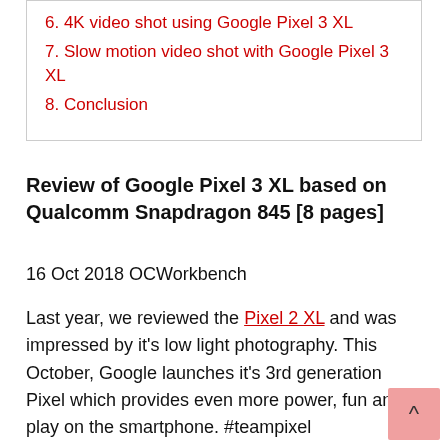6. 4K video shot using Google Pixel 3 XL
7. Slow motion video shot with Google Pixel 3 XL
8. Conclusion
Review of Google Pixel 3 XL based on Qualcomm Snapdragon 845 [8 pages]
16 Oct 2018 OCWorkbench
Last year, we reviewed the Pixel 2 XL and was impressed by it's low light photography. This October, Google launches it's 3rd generation Pixel which provides even more power, fun and play on the smartphone. #teampixel